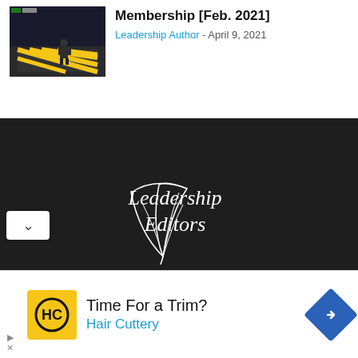[Figure (screenshot): Thumbnail image of a video game scene with a character on a yellow and black striped floor in a dark room]
Membership [Feb. 2021]
Leadership Author - April 9, 2021
[Figure (logo): Leadership Editors logo with a white feather quill and cursive script text on a dark background]
ABOUT US
[Figure (screenshot): Advertisement: Time For a Trim? Hair Cuttery, with HC logo and navigation arrow icon]